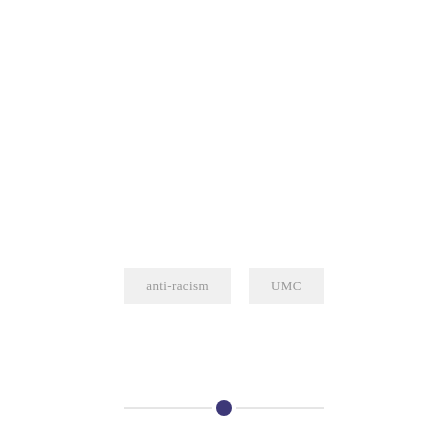anti-racism
UMC
[Figure (other): Horizontal divider with a filled dark-blue circle in the center]
PREVIOUS POST
#ChalktheLove
NEXT POST
The Thanksgiving Experience from the African Immigrants' Perspective